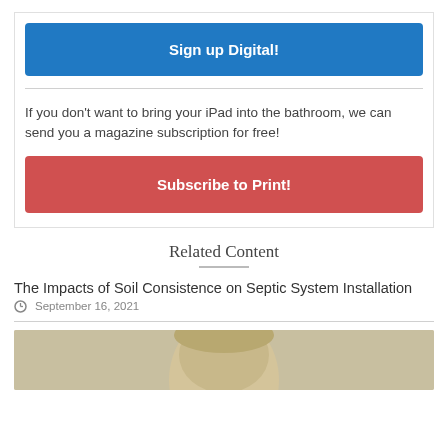[Figure (other): Blue 'Sign up Digital!' button]
If you don't want to bring your iPad into the bathroom, we can send you a magazine subscription for free!
[Figure (other): Red 'Subscribe to Print!' button]
Related Content
The Impacts of Soil Consistence on Septic System Installation
September 16, 2021
[Figure (photo): Partial thumbnail photo of a person's face]